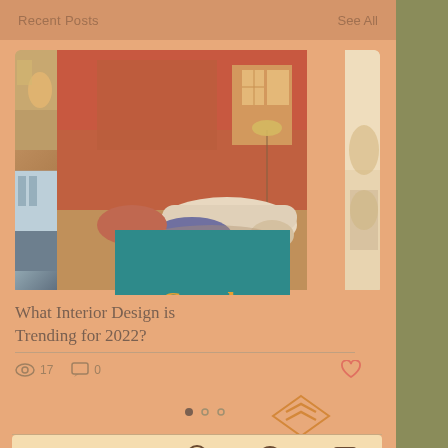Recent Posts    See All
[Figure (screenshot): Interior design blog post card showing a warm terracotta-toned living room with plush curved furniture, overlaid with a teal Coosh Interiors logo box. Left side shows thumbnail strip of other posts. Text reads 'What Interior Design is Trending for 2022?' with view count 17 and comment count 0 and a heart icon.]
What Interior Design is Trending for 2022?
17   0
[Figure (logo): Double chevron/arrow up logo in orange outline style]
Phone, Email, Location, WhatsApp, Chat icons